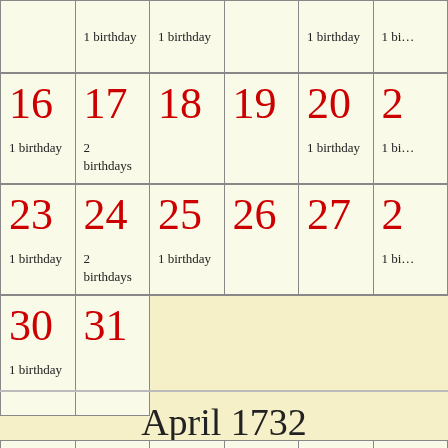[Figure (other): Partial calendar showing end of March (days 16-31) with birthday counts, followed by April 1732 header and day-of-week row start]
April 1732